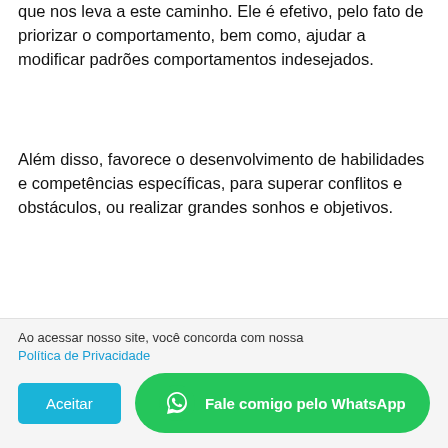que nos leva a este caminho. Ele é efetivo, pelo fato de priorizar o comportamento, bem como, ajudar a modificar padrões comportamentos indesejados.
Além disso, favorece o desenvolvimento de habilidades e competências específicas, para superar conflitos e obstáculos, ou realizar grandes sonhos e objetivos.
Em síntese, é um dos métodos da
Ao acessar nosso site, você concorda com nossa Política de Privacidade
Aceitar
Fale comigo pelo WhatsApp